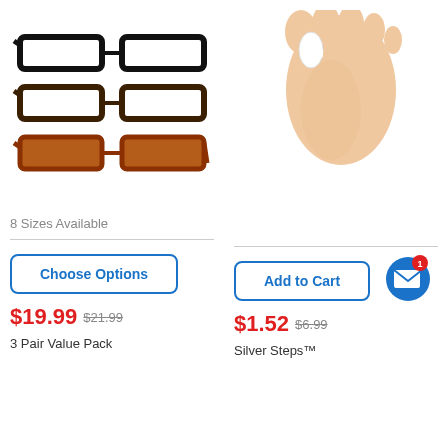[Figure (photo): Three pairs of reading glasses stacked on top of each other — black, dark brown, and tortoise shell — shown folded, left product column]
[Figure (photo): A foot wearing a white toe separator/bunion corrector product, right product column]
8 Sizes Available
Choose Options
Add to Cart
$19.99  $21.99
$1.52  $6.99
3 Pair Value Pack
Silver Steps™